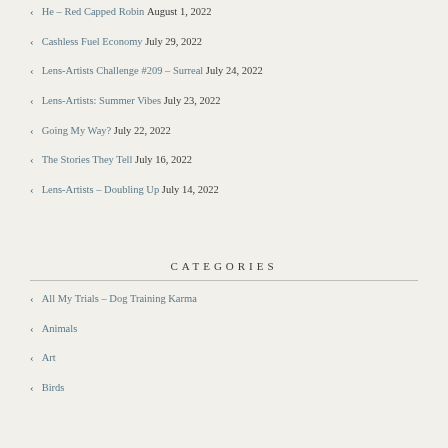He – Red Capped Robin August 1, 2022
Cashless Fuel Economy July 29, 2022
Lens-Artists Challenge #209 – Surreal July 24, 2022
Lens-Artists: Summer Vibes July 23, 2022
Going My Way? July 22, 2022
The Stories They Tell July 16, 2022
Lens-Artists – Doubling Up July 14, 2022
CATEGORIES
All My Trials – Dog Training Karma
Animals
Art
Birds